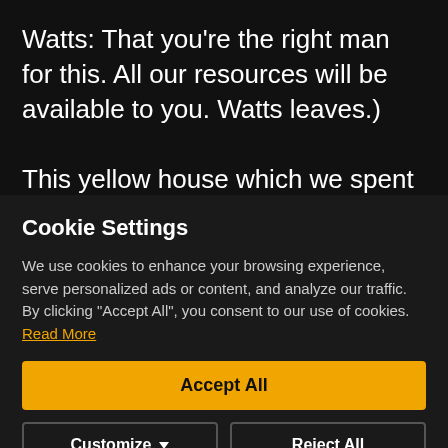Watts: That you're the right man for this. All our resources will be available to you. Watts leaves.)
This yellow house which we spent a lot of time making into the sort of perfect house - we re-shingled the house, we painted it a
Cookie Settings
We use cookies to enhance your browsing experience, serve personalized ads or content, and analyze our traffic. By clicking "Accept All", you consent to our use of cookies. Read More